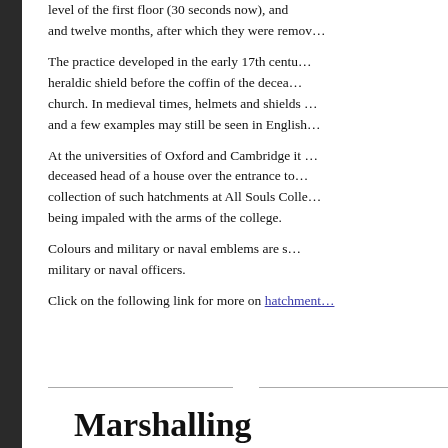level of the first floor (30 seconds now), and twelve months, after which they were removed.
The practice developed in the early 17th century of carrying a heraldic shield before the coffin of the deceased to the church. In medieval times, helmets and shields were used, and a few examples may still be seen in English churches.
At the universities of Oxford and Cambridge it is customary to hang a hatchment of a deceased head of a house over the entrance to the college. There is a fine collection of such hatchments at All Souls College, Oxford, the personal arms being impaled with the arms of the college.
Colours and military or naval emblems are sometimes added for military or naval officers.
Click on the following link for more on hatchments
Marshalling